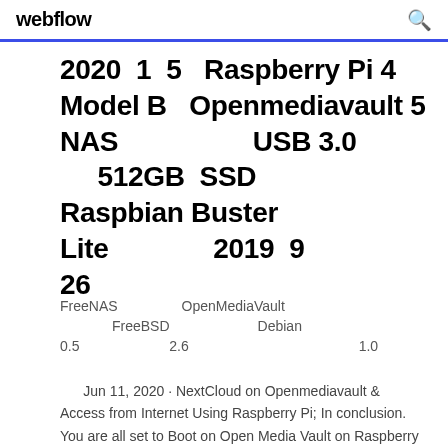webflow
2020 1 5 Raspberry Pi 4 Model B Openmediavault 5 NAS USB 3.0 512GB SSD Raspbian Buster Lite 2019 9 26
FreeNAS OpenMediaVault FreeBSD Debian
0.5 2.6 1.0
Jun 11, 2020 · NextCloud on Openmediavault & Access from Internet Using Raspberry Pi; In conclusion. You are all set to Boot on Open Media Vault on Raspberry Pi A